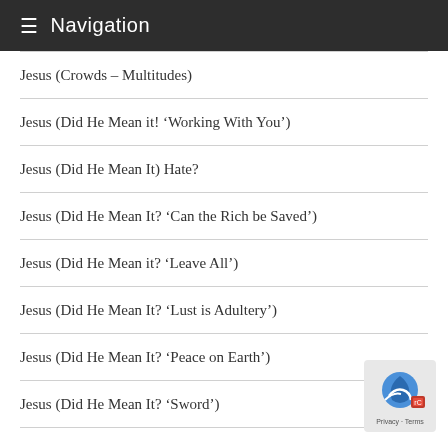≡ Navigation
Jesus (Crowds – Multitudes)
Jesus (Did He Mean it! 'Working With You')
Jesus (Did He Mean It) Hate?
Jesus (Did He Mean It? 'Can the Rich be Saved')
Jesus (Did He Mean it? 'Leave All')
Jesus (Did He Mean It? 'Lust is Adultery')
Jesus (Did He Mean It? 'Peace on Earth')
Jesus (Did He Mean It? 'Sword')